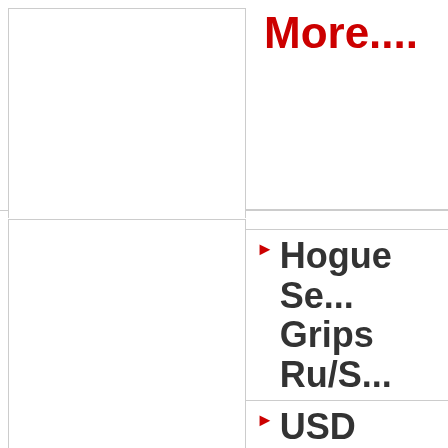[Figure (photo): Top-left image placeholder (empty white box with border)]
More....
[Figure (photo): Bottom-left image placeholder (empty white box with border)]
Hogue Se... Grips Ru/S...
USD 15.9...
Handgun...
Hand-filling... recoil by...